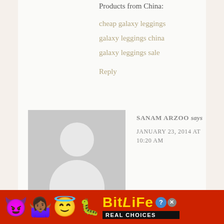Products from China:
cheap galaxy leggings
galaxy leggings china
galaxy leggings sale
Reply
[Figure (photo): Default avatar placeholder image showing silhouette of person with grey background]
SANAM ARZOO says
JANUARY 23, 2014 AT 10:20 AM
We should not waste any chance as
[Figure (infographic): BitLife advertisement banner with red background, emoji characters (devil, woman, winking emoji), sperm icon, yellow BitLife logo text, and REAL CHOICES tagline on black background]